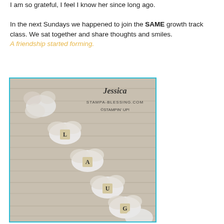I am so grateful, I feel I know her since long ago.

In the next Sundays we happened to join the SAME growth track class. We sat together and share thoughts and smiles. A friendship started forming.
[Figure (photo): Photo of a decorative garland or banner made of fluffy white fabric pieces with small letter tiles, arranged diagonally on a wooden surface. Watermark text reads: Jessica Stampa-Blessing.com ©Stampin' Up!]